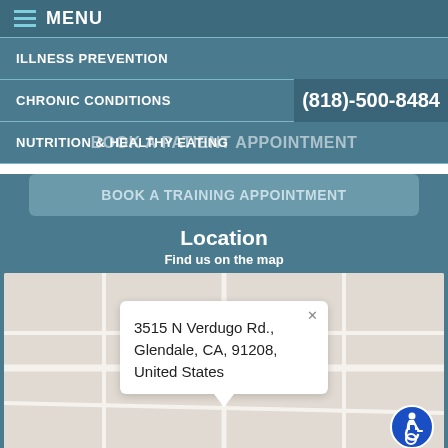MENU
ILLNESS PREVENTION
CHRONIC CONDITIONS
NUTRITION & HEALTHY EATING
(818)-500-8484
BOOK A PATIENT APPOINTMENT
BOOK A TRAINING APPOINTMENT
Location
Find us on the map
[Figure (map): Google map showing location with popup address: 3515 N Verdugo Rd., Glendale, CA, 91208, United States]
3515 N Verdugo Rd., Glendale, CA, 91208, United States